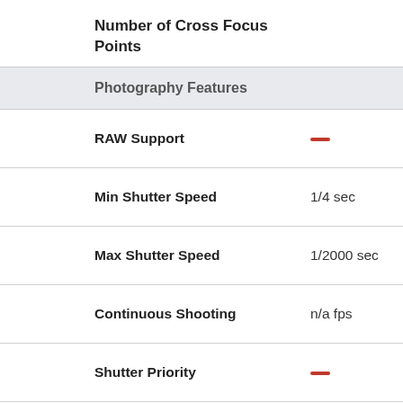Number of Cross Focus Points
Photography Features
| Feature | Value |
| --- | --- |
| RAW Support | — |
| Min Shutter Speed | 1/4 sec |
| Max Shutter Speed | 1/2000 sec |
| Continuous Shooting | n/a fps |
| Shutter Priority | — |
| Aperture Priority | — |
| Manual Exposure Mode | — |